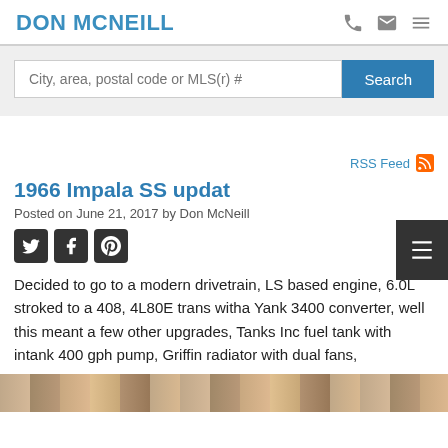DON MCNEILL
City, area, postal code or MLS(r) #
Search
RSS Feed
1966 Impala SS updat
Posted on June 21, 2017 by Don McNeill
Decided to go to a modern drivetrain, LS based engine, 6.0L stroked to a 408, 4L80E trans witha Yank 3400 converter, well this meant a few other upgrades, Tanks Inc fuel tank with intank 400 gph pump, Griffin radiator with dual fans,
[Figure (photo): Bottom portion of a photo showing car parts and tools on a surface]